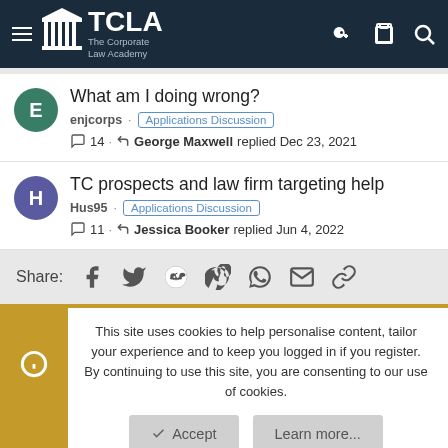TCLA The Corporate Law Academy
What am I doing wrong?
enjcorps · Applications Discussion · 14 · George Maxwell replied Dec 23, 2021
TC prospects and law firm targeting help
Hus95 · Applications Discussion · 11 · Jessica Booker replied Jun 4, 2022
Share:
This site uses cookies to help personalise content, tailor your experience and to keep you logged in if you register. By continuing to use this site, you are consenting to our use of cookies.
Accept  Learn more...